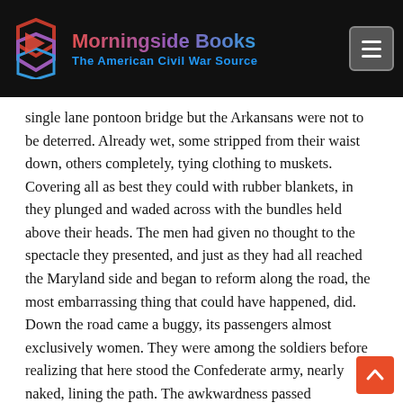Morningside Books — The American Civil War Source
single lane pontoon bridge but the Arkansans were not to be deterred. Already wet, some stripped from their waist down, others completely, tying clothing to muskets. Covering all as best they could with rubber blankets, in they plunged and waded across with the bundles held above their heads. The men had given no thought to the spectacle they presented, and just as they had all reached the Maryland side and began to reform along the road, the most embarrassing thing that could have happened, did. Down the road came a buggy, its passengers almost exclusively women. They were among the soldiers before realizing that here stood the Confederate army, nearly naked, lining the path. The awkwardness passed